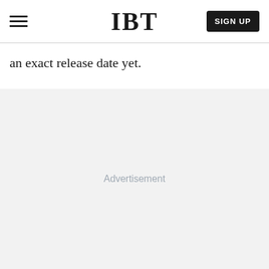IBT | SIGN UP
an exact release date yet.
[Figure (other): Advertisement placeholder area with light gray background and centered 'Advertisement' label text]